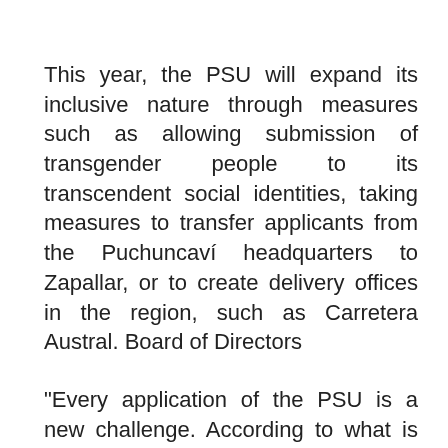This year, the PSU will expand its inclusive nature through measures such as allowing submission of transgender people to its transcendent social identities, taking measures to transfer applicants from the Puchuncaví headquarters to Zapallar, or to create delivery offices in the region, such as Carretera Austral. Board of Directors
"Every application of the PSU is a new challenge. According to what is registered more than 290,000, DEMRE has been created all year round, because questions have been built, piloted, and integrated into